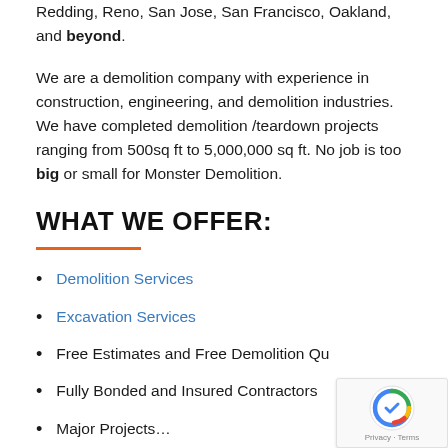Redding, Reno, San Jose, San Francisco, Oakland, and beyond.
We are a demolition company with experience in construction, engineering, and demolition industries. We have completed demolition /teardown projects ranging from 500sq ft to 5,000,000 sq ft. No job is too big or small for Monster Demolition.
WHAT WE OFFER:
Demolition Services
Excavation Services
Free Estimates and Free Demolition Qu…
Fully Bonded and Insured Contractors
Major Projects…